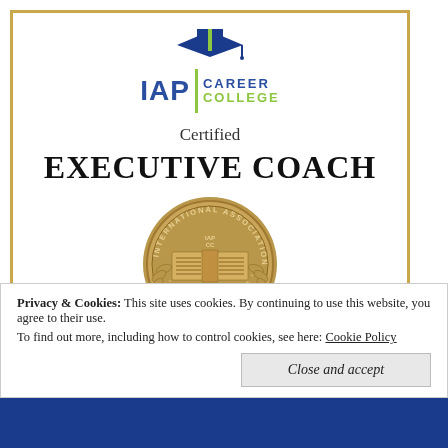[Figure (logo): IAP Career College logo with graduation cap, blue IAP text, green vertical divider, CAREER COLLEGE text in blue and green]
Certified
EXECUTIVE COACH
[Figure (illustration): Circular gold seal of the International Association of Professionals Career College with open book in center and text around the border]
As witnessed and certified by the seal of the International
Privacy & Cookies: This site uses cookies. By continuing to use this website, you agree to their use.
To find out more, including how to control cookies, see here: Cookie Policy
Close and accept